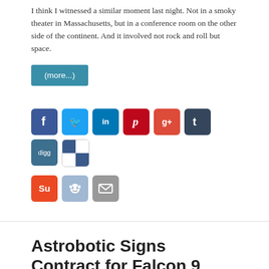I think I witnessed a similar moment last night. Not in a smoky theater in Massachusetts, but in a conference room on the other side of the continent. And it involved not rock and roll but space.
(more...)
[Figure (infographic): Social media sharing icons: Facebook, Twitter, LinkedIn, Pinterest, Google+, Tumblr, Digg, Delicious, StumbleUpon, Reddit, Email]
Astrobotic Signs Contract for Falcon 9 Launch to Moon
February 6, 2011  Astrobotic Technology, Falcon 9, Google Lunar X Prize, SpaceX  1 Comment